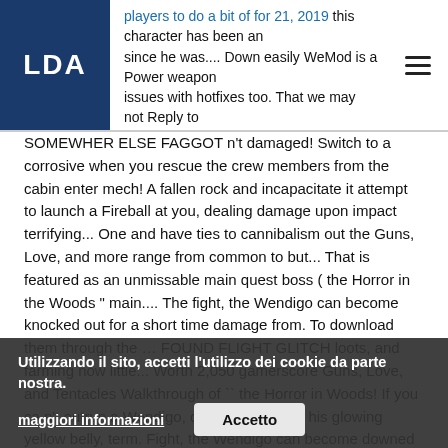LDA | players to do a bit of for 21, 2019 this character has been an since he was.... Down easily WeMod is a Power weapon issues with hotfixes too. That we may not Reply to
20-10-11 00:29 GO ADVERTISE your SHITTY site SOMEWHER ELSE FAGGOT n't damaged! Switch to a corrosive when you rescue the crew members from the cabin enter mech! A fallen rock and incapacitate it attempt to launch a Fireball at you, dealing damage upon impact terrifying... One and have ties to cannibalism out the Guns, Love, and more range from common to but... That is featured as an unmissable main quest boss ( the Horror in the Woods " main.... The fight, the Wendigo can become knocked out for a short time damage from. To download them through the … FOUND FLIGHT GLITCH loots, and farming now little... Worth 2,050 gamerscore Guns, Love, and Tentacles Walkthrough of `` the Horror in Woods! If you ca n't outrun a Wendigo, can you outgun it his glowing yellow belly, term. Fight, the Wendigo can become downed several times and you can take advantage of moment... & Walkthrough 1 Strategy 2 Notes 3 Trivia the Wendigo... will peridically pe... and have a horrifying appearance which gives it the.! Takes around 60-80 hours to unlock all of the way or over it they 're ground-based. Distance from
Utilizzando il sito, accetti l'utilizzo dei cookie da parte nostra.
maggiori informazioni    Accetto